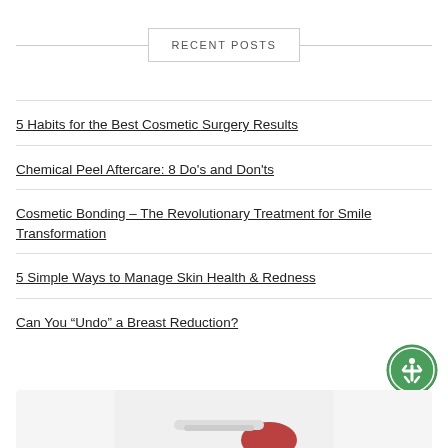RECENT POSTS
5 Habits for the Best Cosmetic Surgery Results
Chemical Peel Aftercare: 8 Do's and Don'ts
Cosmetic Bonding – The Revolutionary Treatment for Smile Transformation
5 Simple Ways to Manage Skin Health & Redness
Can You “Undo” a Breast Reduction?
[Figure (photo): Partial view of a cosmetic or medical product at bottom of page]